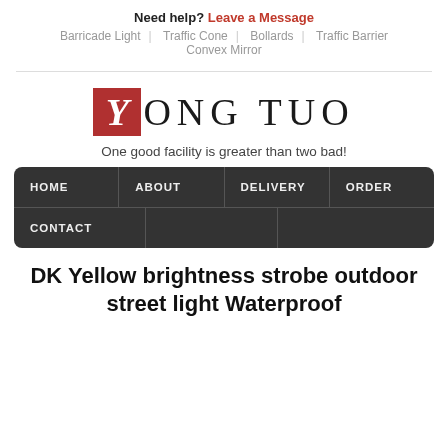Need help? Leave a Message
Barricade Light | Traffic Cone | Bollards | Traffic Barrier | Convex Mirror
[Figure (logo): Yong Tuo logo with red Y box and serif text ONG TUO]
One good facility is greater than two bad!
HOME | ABOUT | DELIVERY | ORDER | CONTACT
DK Yellow brightness strobe outdoor street light Waterproof outdoor office outdoor